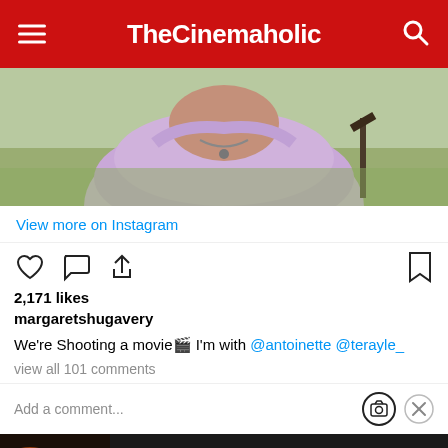TheCinemaholic
[Figure (photo): Person wearing purple off-shoulder top with necklace, outdoor background]
View more on Instagram
[Figure (infographic): Instagram post engagement icons: heart, comment bubble, share arrow, and bookmark]
2,171 likes
margaretshugavery
We're Shooting a movie🎬 I'm with @antoinette @terayle_
view all 101 comments
Add a comment...
[Figure (screenshot): Seamless food delivery advertisement with pizza image, seamless logo, and ORDER NOW button]